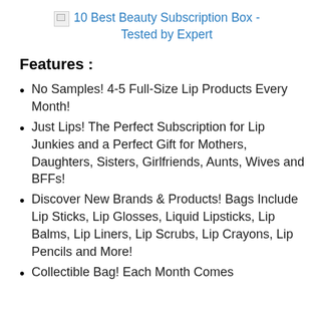10 Best Beauty Subscription Box - Tested by Expert
Features :
No Samples! 4-5 Full-Size Lip Products Every Month!
Just Lips! The Perfect Subscription for Lip Junkies and a Perfect Gift for Mothers, Daughters, Sisters, Girlfriends, Aunts, Wives and BFFs!
Discover New Brands & Products! Bags Include Lip Sticks, Lip Glosses, Liquid Lipsticks, Lip Balms, Lip Liners, Lip Scrubs, Lip Crayons, Lip Pencils and More!
Collectible Bag! Each Month Comes